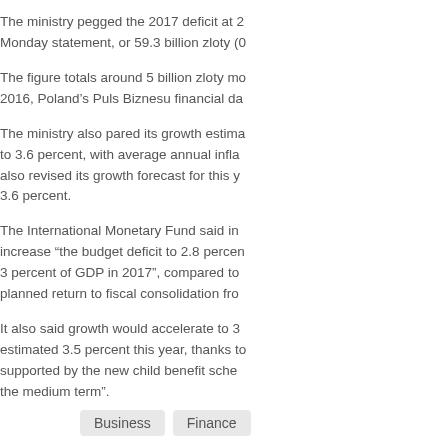The ministry pegged the 2017 deficit at 2... Monday statement, or 59.3 billion zloty (0...
The figure totals around 5 billion zloty mo... 2016, Poland's Puls Biznesu financial da...
The ministry also pared its growth estima... to 3.6 percent, with average annual infla... also revised its growth forecast for this y... 3.6 percent.
The International Monetary Fund said in... increase “the budget deficit to 2.8 percen... 3 percent of GDP in 2017”, compared to... planned return to fiscal consolidation fro...
It also said growth would accelerate to 3... estimated 3.5 percent this year, thanks to... supported by the new child benefit sche... the medium term”.
Business
Finance